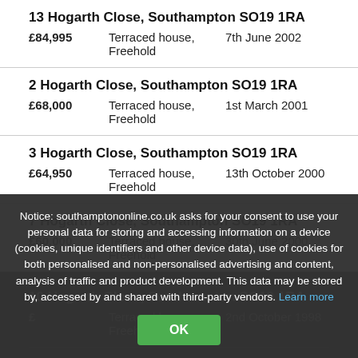13 Hogarth Close, Southampton SO19 1RA – £84,995, Terraced house, Freehold, 7th June 2002
2 Hogarth Close, Southampton SO19 1RA – £68,000, Terraced house, Freehold, 1st March 2001
3 Hogarth Close, Southampton SO19 1RA – £64,950, Terraced house, Freehold, 13th October 2000
7 Hogarth Close, Southampton SO19 1RA – £60,000, Terraced house, Freehold, 30th June 2000
10 Hogarth Close, Southampton SO19 1RA – £[obscured], Terraced house, Freehold, 2nd October 1998
11 Hogarth Close, Southampton SO19 1RA – £52,500, Terraced house, Freehold, 18th September 1998
Notice: southamptononline.co.uk asks for your consent to use your personal data for storing and accessing information on a device (cookies, unique identifiers and other device data), use of cookies for both personalised and non-personalised advertising and content, analysis of traffic and product development. This data may be stored by, accessed by and shared with third-party vendors. Learn more